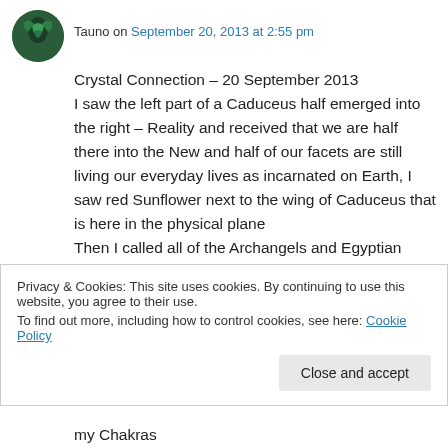Tauno on September 20, 2013 at 2:55 pm
Crystal Connection – 20 September 2013
I saw the left part of a Caduceus half emerged into the right – Reality and received that we are half there into the New and half of our facets are still living our everyday lives as incarnated on Earth, I saw red Sunflower next to the wing of Caduceus that is here in the physical plane
Then I called all of the Archangels and Egyptian Gods with all my Heart
Privacy & Cookies: This site uses cookies. By continuing to use this website, you agree to their use.
To find out more, including how to control cookies, see here: Cookie Policy
my Chakras